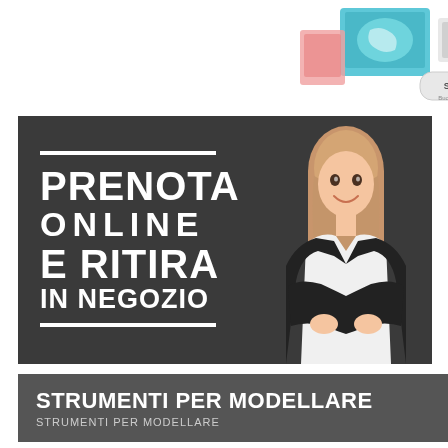[Figure (photo): Product display image showing colorful educational/school supply boxes with a brand logo (Sofin/similar), positioned in upper right area of the page on white background.]
[Figure (photo): Chalkboard-style banner with bold white chalk text reading 'PRENOTA ONLINE E RITIRA IN NEGOZIO' (Book online and pick up in store), with a smiling businesswoman in a black blazer with arms crossed standing on the right side.]
STRUMENTI PER MODELLARE
STRUMENTI PER MODELLARE